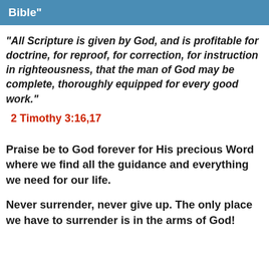Bible"
"All Scripture is given by God, and is profitable for doctrine, for reproof, for correction, for instruction in righteousness, that the man of God may be complete, thoroughly equipped for every good work."
2 Timothy 3:16,17
Praise be to God forever for His precious Word where we find all the guidance and everything we need for our life.
Never surrender, never give up. The only place we have to surrender is in the arms of God!